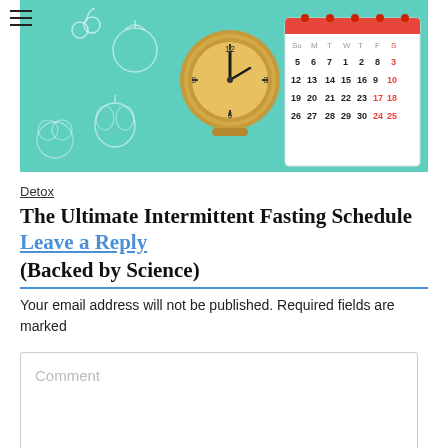[Figure (photo): Hero image showing a wooden analog clock and a calendar on a teal/mint green background with white food/vegetable outline illustrations. The calendar shows dates and some dates in red.]
Detox
The Ultimate Intermittent Fasting Schedule Leave a Reply (Backed by Science)
Your email address will not be published. Required fields are marked
Comment